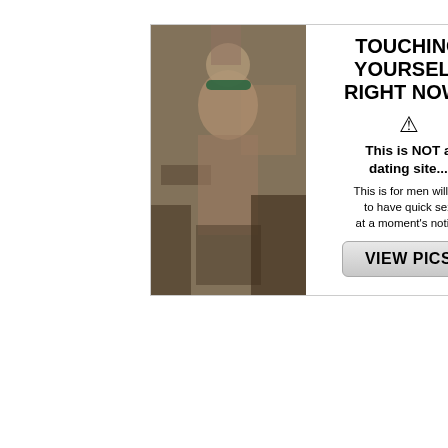[Figure (infographic): Top advertisement image with photo of person on left and text on right: TOUCHING YOURSELF RIGHT NOW? warning icon, This is NOT a dating site..., This is for men willing to have quick sex at a moment's notice, VIEW PICS button]
[Figure (infographic): Bottom advertisement with red background, cartoon woman with glasses and dark hair, green headline THIS IS NOT A DATING SITE, cyan text YOU WILL FUCK UGLY WOMEN, bullet points: No sign-up, No creditcard, No bullshit]